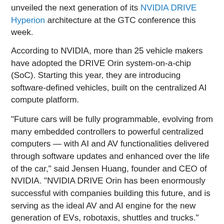unveiled the next generation of its NVIDIA DRIVE Hyperion architecture at the GTC conference this week.
According to NVIDIA, more than 25 vehicle makers have adopted the DRIVE Orin system-on-a-chip (SoC). Starting this year, they are introducing software-defined vehicles, built on the centralized AI compute platform.
“Future cars will be fully programmable, evolving from many embedded controllers to powerful centralized computers — with AI and AV functionalities delivered through software updates and enhanced over the life of the car,” said Jensen Huang, founder and CEO of NVIDIA. “NVIDIA DRIVE Orin has been enormously successful with companies building this future, and is serving as the ideal AV and AI engine for the new generation of EVs, robotaxis, shuttles and trucks.”
At GTC, BYD and Lucid Group announced they are adopting NVIDIA DRIVE for their next-generation fleets.
BYD will also be adopting the NVIDIA the DRIVE